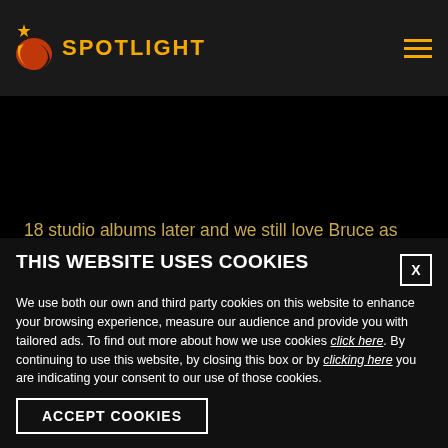SPOTLIGHT
18 studio albums later and we still love Bruce as much as we did the first time we heard him sing. Happy Birthday Bruce!
THIS WEBSITE USES COOKIES
We use both our own and third party cookies on this website to enhance your browsing experience, measure our audience and provide you with tailored ads. To find out more about how we use cookies click here. By continuing to use this website, by closing this box or by clicking here you are indicating your consent to our use of those cookies.
ACCEPT COOKIES